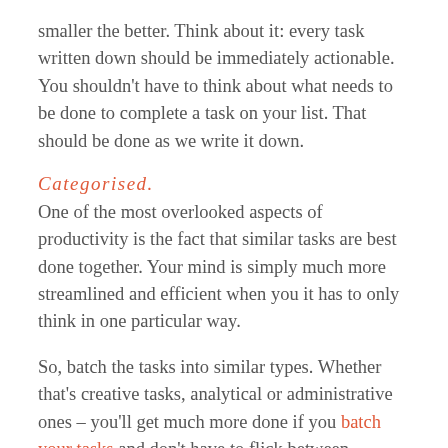smaller the better. Think about it: every task written down should be immediately actionable. You shouldn't have to think about what needs to be done to complete a task on your list. That should be done as we write it down.
Categorised.
One of the most overlooked aspects of productivity is the fact that similar tasks are best done together. Your mind is simply much more streamlined and efficient when you it has to only think in one particular way.
So, batch the tasks into similar types. Whether that's creative tasks, analytical or administrative ones – you'll get much more done if you batch your tasks and don't have to flick between different modes of thinking.